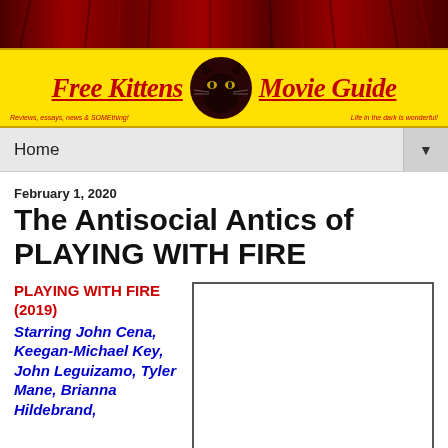[Figure (illustration): Red curtain decorative banner at top of page]
Free Kittens Movie Guide — Reviews, essays, news & SOMEthing! — Life in the dark is wonderful!
Home
February 1, 2020
The Antisocial Antics of PLAYING WITH FIRE
PLAYING WITH FIRE (2019) Starring John Cena, Keegan-Michael Key, John Leguizamo, Tyler Mane, Brianna Hildebrand,
[Figure (photo): Movie poster or still image placeholder for Playing With Fire (2019)]